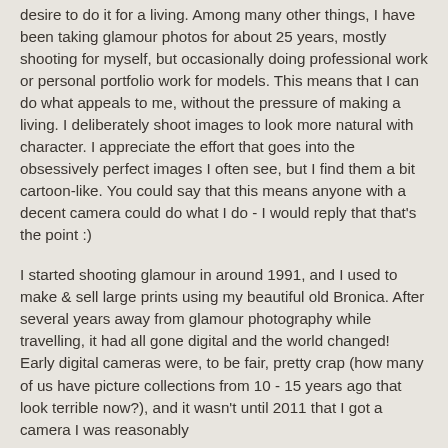desire to do it for a living. Among many other things, I have been taking glamour photos for about 25 years, mostly shooting for myself, but occasionally doing professional work or personal portfolio work for models. This means that I can do what appeals to me, without the pressure of making a living. I deliberately shoot images to look more natural with character. I appreciate the effort that goes into the obsessively perfect images I often see, but I find them a bit cartoon-like. You could say that this means anyone with a decent camera could do what I do - I would reply that that's the point :)
I started shooting glamour in around 1991, and I used to make & sell large prints using my beautiful old Bronica. After several years away from glamour photography while travelling, it had all gone digital and the world changed! Early digital cameras were, to be fair, pretty crap (how many of us have picture collections from 10 - 15 years ago that look terrible now?), and it wasn't until 2011 that I got a camera I was reasonably